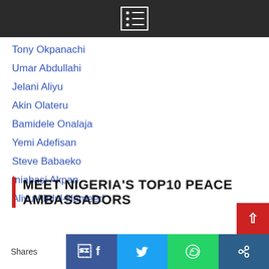Tony Okpanachi
Umar Abdullahi
Jelani Aliyu
Akin Olateru
Bamidele Onalaja
Yemi Adefisan
Steve Babaeko
Iniabasi Akpan
Aliyu Abdul-Hameed
MEET NIGERIA'S TOP10 PEACE AMBASSADORS
Intro
Shares